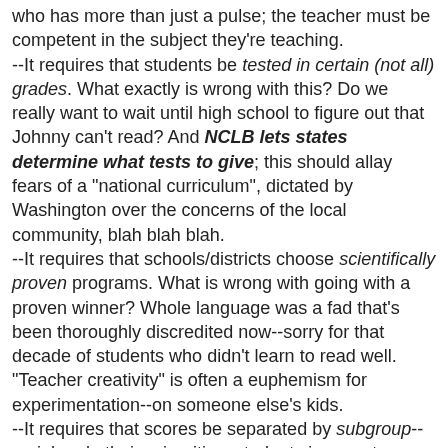who has more than just a pulse; the teacher must be competent in the subject they're teaching. --It requires that students be tested in certain (not all) grades. What exactly is wrong with this? Do we really want to wait until high school to figure out that Johnny can't read? And NCLB lets states determine what tests to give; this should allay fears of a "national curriculum", dictated by Washington over the concerns of the local community, blah blah blah. --It requires that schools/districts choose scientifically proven programs. What is wrong with going with a proven winner? Whole language was a fad that's been thoroughly discredited now--sorry for that decade of students who didn't learn to read well. "Teacher creativity" is often a euphemism for experimentation--on someone else's kids. --It requires that scores be separated by subgroup--racial and ethnic minorities, students in poverty, special education, etc. It's not even a secret that certain groups of students do not perform near as well as whites or Asians. Why shouldn't we highlight these failures and work to improve them? Schools can no longer hide horrible performance of certain groups (blacks and hispanics come to mind) by celebrating a